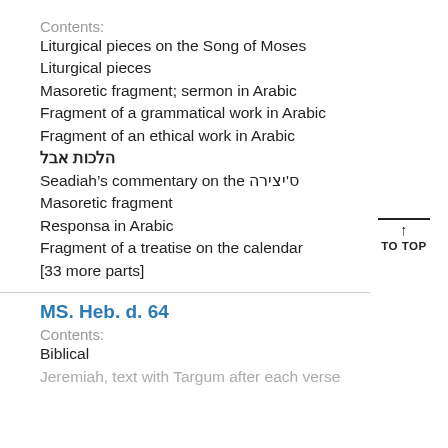Contents:
Liturgical pieces on the Song of Moses
Liturgical pieces
Masoretic fragment; sermon in Arabic
Fragment of a grammatical work in Arabic
Fragment of an ethical work in Arabic
הלכות אבל
Seadiah's commentary on the ס׳יצירה
Masoretic fragment
Responsa in Arabic
Fragment of a treatise on the calendar
[33 more parts]
MS. Heb. d. 64
Contents:
Biblical
Jeremiah, text with Targum after each verse